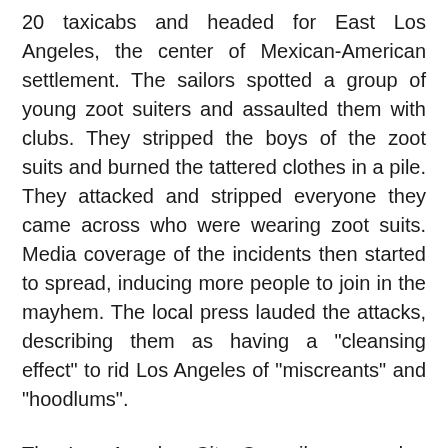20 taxicabs and headed for East Los Angeles, the center of Mexican-American settlement. The sailors spotted a group of young zoot suiters and assaulted them with clubs. They stripped the boys of the zoot suits and burned the tattered clothes in a pile. They attacked and stripped everyone they came across who were wearing zoot suits. Media coverage of the incidents then started to spread, inducing more people to join in the mayhem. The local press lauded the attacks, describing them as having a "cleansing effect" to rid Los Angeles of "miscreants" and "hoodlums".
The Los Angeles City Council approved a resolution criminalizing the wearing of "zoot suits with reat [sic] pleats within the city limits of LA" with the expectation that Mayor Fletcher Bowron would sign it into law. Councilman Norris